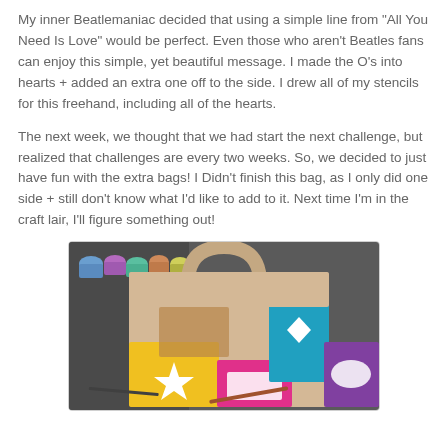My inner Beatlemaniac decided that using a simple line from "All You Need Is Love" would be perfect. Even those who aren't Beatles fans can enjoy this simple, yet beautiful message. I made the O's into hearts + added an extra one off to the side. I drew all of my stencils for this freehand, including all of the hearts.
The next week, we thought that we had start the next challenge, but realized that challenges are every two weeks. So, we decided to just have fun with the extra bags! I Didn't finish this bag, as I only did one side + still don't know what I'd like to add to it. Next time I'm in the craft lair, I'll figure something out!
[Figure (photo): Photo of a colorful painted canvas tote bag lying flat on a work surface, surrounded by paint cups and art supplies. The bag features bold geometric shapes in yellow, pink, teal, and purple with white cutout shapes including a star and diamond.]